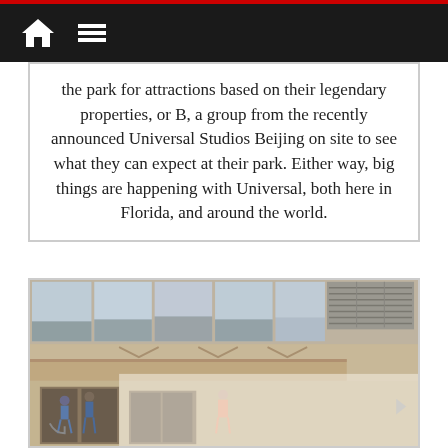the park for attractions based on their legendary properties, or B, a group from the recently announced Universal Studios Beijing on site to see what they can expect at their park. Either way, big things are happening with Universal, both here in Florida, and around the world.
[Figure (photo): Exterior photo of a Universal Studios building facade showing large banner panels along the top and an entrance area with people at the bottom. The building has a tan/beige stone facade with geometric decorative elements.]